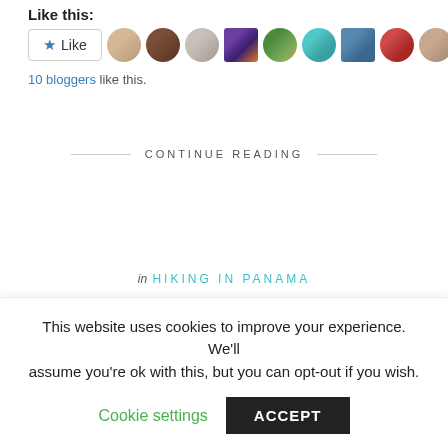Like this:
[Figure (other): Like button and 10 blogger avatar thumbnails]
10 bloggers like this.
CONTINUE READING
in HIKING IN PANAMA
Boquete's Sendero El Pianista (The
This website uses cookies to improve your experience. We'll assume you're ok with this, but you can opt-out if you wish.
Cookie settings   ACCEPT